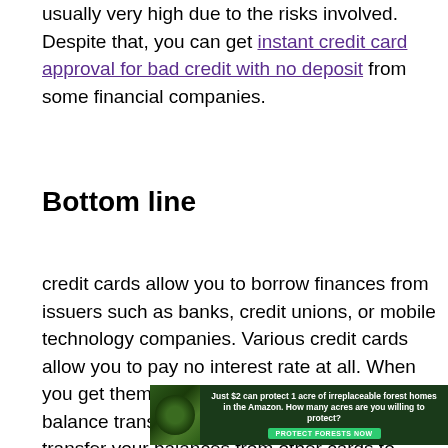usually very high due to the risks involved. Despite that, you can get instant credit card approval for bad credit with no deposit from some financial companies.
Bottom line
credit cards allow you to borrow finances from issuers such as banks, credit unions, or mobile technology companies. Various credit cards allow you to pay no interest rate at all. When you get them, most of them are usually balance transfer cards in that they allow you to transfer your balances from other cards to enjoy low-interest rates. That way, you can repay your debt with ease.
[Figure (infographic): Advertisement banner with dark green forest background. Text reads: 'Just $2 can protect 1 acre of irreplaceable forest homes in the Amazon. How many acres are you willing to protect?' with a green 'PROTECT FORESTS NOW' button.]